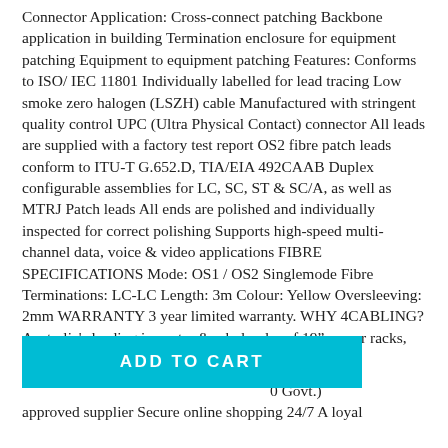Connector Application: Cross-connect patching Backbone application in building Termination enclosure for equipment patching Equipment to equipment patching Features: Conforms to ISO/ IEC 11801 Individually labelled for lead tracing Low smoke zero halogen (LSZH) cable Manufactured with stringent quality control UPC (Ultra Physical Contact) connector All leads are supplied with a factory test report OS2 fibre patch leads conform to ITU-T G.652.D, TIA/EIA 492CAAB Duplex configurable assemblies for LC, SC, ST & SC/A, as well as MTRJ Patch leads All ends are polished and individually inspected for correct polishing Supports high-speed multi-channel data, voice & video applications FIBRE SPECIFICATIONS Mode: OS1 / OS2 Singlemode Fibre Terminations: LC-LC Length: 3m Colour: Yellow Oversleeving: 2mm WARRANTY 3 year limited warranty. WHY 4CABLING? Australia's leading importer & wholesaler of 19" server racks, copper, fibre & structured networking
[Figure (other): ADD TO CART button (teal/cyan background, white bold text)]
0 Govt.) approved supplier Secure online shopping 24/7 A loyal